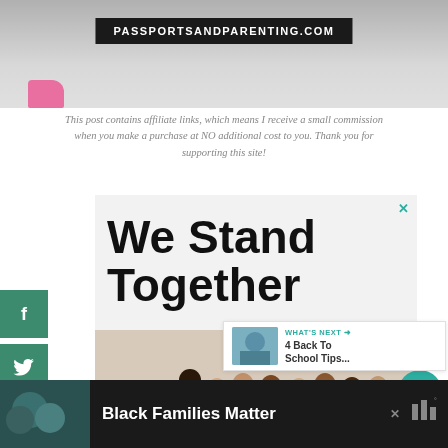[Figure (photo): Top banner photo showing passportsandparenting.com website header with a black label box and a person's pink sneaker visible at the bottom left]
This post contains affiliate links, which means I receive a small commission when you make a purchase at NO additional cost to you. Thank you for supporting this site!
[Figure (screenshot): Advertisement showing 'We Stand Together' text with a group photo of diverse people standing with arms around each other, viewed from behind]
[Figure (screenshot): What's Next widget showing '4 Back To School Tips...' with a thumbnail image]
[Figure (screenshot): Bottom advertisement bar showing 'Black Families Matter' text on dark background with a family photo and a logo]